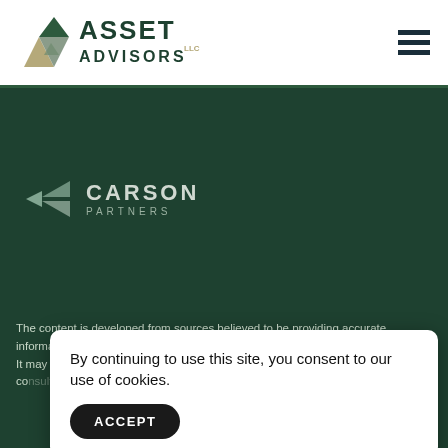[Figure (logo): Asset Advisors LLC logo with triangle mountain graphic and company name in dark green]
[Figure (logo): Hamburger menu icon (three horizontal dark blue lines)]
[Figure (logo): Carson Partners logo with angular bowtie/arrow graphic in light grey-green on dark green background]
The content is developed from sources believed to be providing accurate information. The information in this material is not intended as tax or legal advice. It may not be used for the purpose of avoiding any federal tax penalties. Please co[nsult legal or tax professionals for specific information regarding your] situ[ation, and] and [...]
By continuing to use this site, you consent to our use of cookies.
ACCEPT